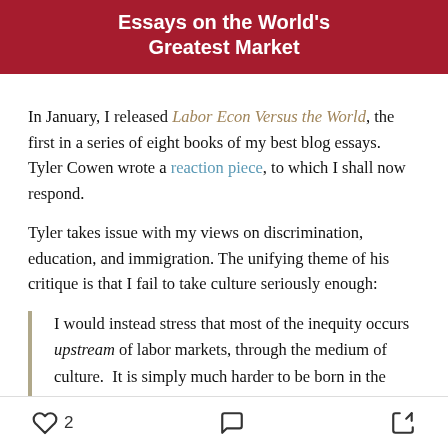Essays on the World's Greatest Market
In January, I released Labor Econ Versus the World, the first in a series of eight books of my best blog essays.  Tyler Cowen wrote a reaction piece, to which I shall now respond.
Tyler takes issue with my views on discrimination, education, and immigration. The unifying theme of his critique is that I fail to take culture seriously enough:
I would instead stress that most of the inequity occurs upstream of labor markets, through the medium of culture.  It is simply much harder to be born in the ghetto!  I am fine with not calling this
2